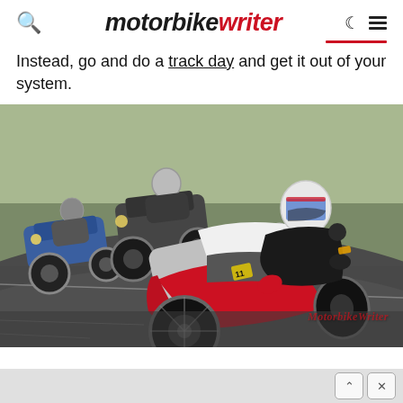motorbike writer
Instead, go and do a track day and get it out of your system.
[Figure (photo): Three motorcyclists racing on a track. The foreground rider is on a red and white sport bike leaning into a corner, wearing a white and blue helmet. Behind are two riders on darker bikes, one of which is blue. A MotorbikeWriter watermark is visible at the bottom right.]